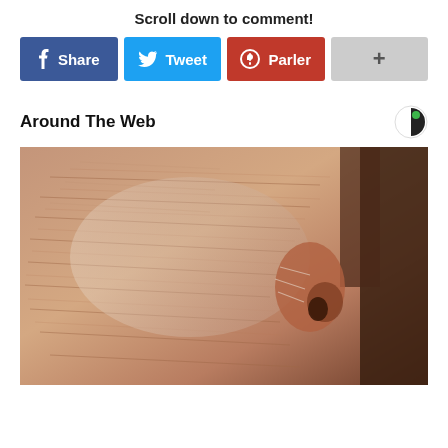Scroll down to comment!
[Figure (infographic): Social share bar with Facebook Share, Twitter Tweet, Parler, and a plus/more button]
Around The Web
[Figure (photo): Close-up photo of aged human skin showing wrinkles and cream/lotion applied on a face]